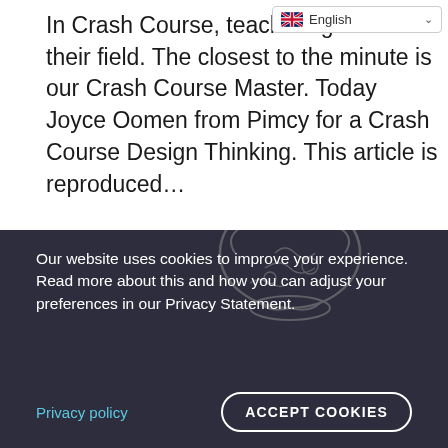English
In Crash Course, teachers get one their field. The closest to the minute is our Crash Course Master. Today Joyce Oomen from Pimcy for a Crash Course Design Thinking. This article is reproduced…
[Figure (screenshot): Share button (purple) and READ MORE button (outlined in purple)]
[Figure (illustration): Dark section with brain sketch illustration in the background]
Our website uses cookies to improve your experience. Read more about this and how you can adjust your preferences in our Privacy Statement.
Privacy policy
ACCEPT COOKIES